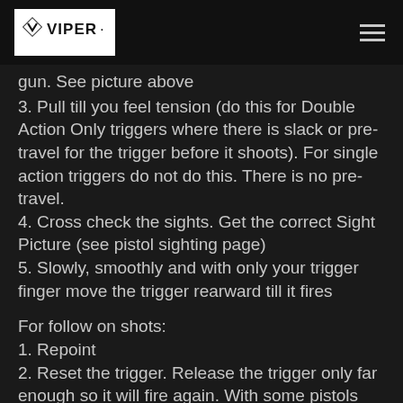VIPER [logo]
gun.  See picture above
3. Pull till you feel tension (do this for Double Action Only triggers where there is slack or pre-travel for the trigger before it shoots). For single action triggers do not do this. There is no pre-travel.
4. Cross check the sights. Get the correct Sight Picture (see pistol sighting page)
5. Slowly, smoothly and with only your trigger finger move the trigger rearward till it fires
For follow on shots:
1. Repoint
2. Reset the trigger.  Release the trigger only far enough so it will fire again.  With some pistols this